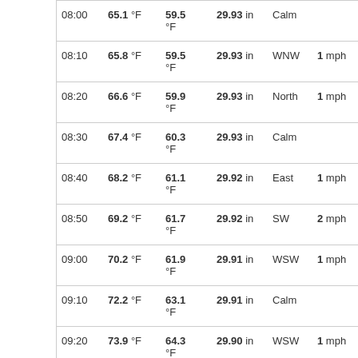| 08:00 | 65.1 °F | 59.5 °F | 29.93 in | Calm |  | 2 mph |
| 08:10 | 65.8 °F | 59.5 °F | 29.93 in | WNW | 1 mph | 4 mph |
| 08:20 | 66.6 °F | 59.9 °F | 29.93 in | North | 1 mph | 4 mph |
| 08:30 | 67.4 °F | 60.3 °F | 29.93 in | Calm |  | 6 mph |
| 08:40 | 68.2 °F | 61.1 °F | 29.92 in | East | 1 mph | 4 mph |
| 08:50 | 69.2 °F | 61.7 °F | 29.92 in | SW | 2 mph | 3 mph |
| 09:00 | 70.2 °F | 61.9 °F | 29.91 in | WSW | 1 mph | 3 mph |
| 09:10 | 72.2 °F | 63.1 °F | 29.91 in | Calm |  | 3 mph |
| 09:20 | 73.9 °F | 64.3 °F | 29.90 in | WSW | 1 mph | 2 mph |